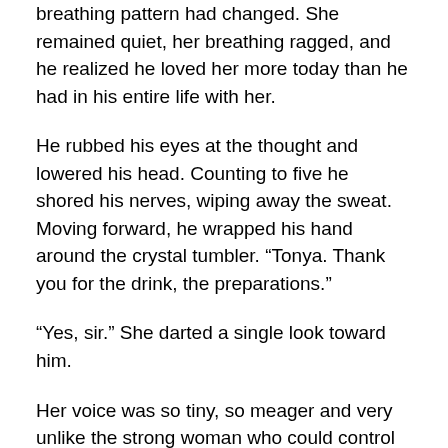breathing pattern had changed. She remained quiet, her breathing ragged, and he realized he loved her more today than he had in his entire life with her.
He rubbed his eyes at the thought and lowered his head. Counting to five he shored his nerves, wiping away the sweat. Moving forward, he wrapped his hand around the crystal tumbler. “Tonya. Thank you for the drink, the preparations.”
“Yes, sir.” She darted a single look toward him.
Her voice was so tiny, so meager and very unlike the strong woman who could control an entire courtroom without breaking a sweat. He took a sip of his drink and realized his hand was shaking. What is wrong with you? You need to calm down, remember this is your wife and she needs you to be strong. Somehow the words meant